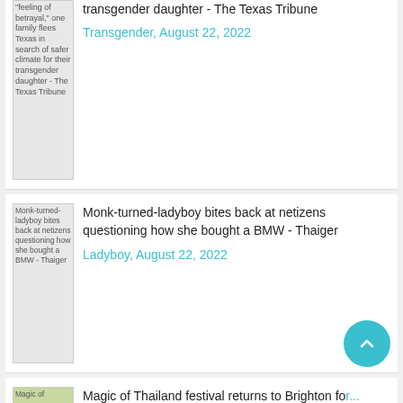[Figure (screenshot): Thumbnail image for article about Texas family]
"feeling of betrayal," one family flees Texas in search of safer climate for their transgender daughter - The Texas Tribune
Transgender, August 22, 2022
[Figure (screenshot): Thumbnail image for article about monk-turned-ladyboy]
Monk-turned-ladyboy bites back at netizens questioning how she bought a BMW - Thaiger
Ladyboy, August 22, 2022
[Figure (screenshot): Thumbnail image for Magic of Thailand article]
Magic of Thailand festival returns to Brighton for...